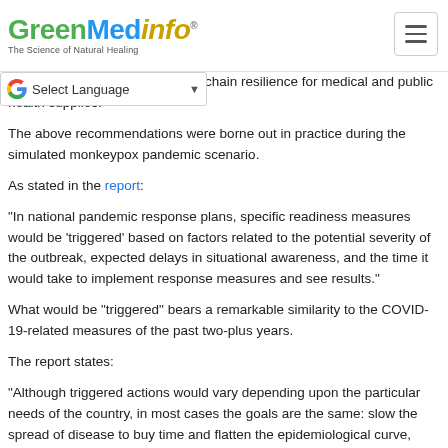GreenMedInfo® - The Science of Natural Healing
chain resilience for medical and public health supplies.
The above recommendations were borne out in practice during the simulated monkeypox pandemic scenario.
As stated in the report:
"In national pandemic response plans, specific readiness measures would be 'triggered' based on factors related to the potential severity of the outbreak, expected delays in situational awareness, and the time it would take to implement response measures and see results."
What would be "triggered" bears a remarkable similarity to the COVID-19-related measures of the past two-plus years.
The report states:
"Although triggered actions would vary depending upon the particular needs of the country, in most cases the goals are the same: slow the spread of disease to buy time and flatten the epidemiological curve, while using that time to scale up